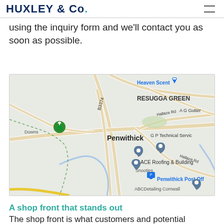HUXLEY & Co.
using the inquiry form and we'll contact you as soon as possible.
[Figure (map): Google Maps screenshot showing Penwithick area in Cornwall, UK. Visible labels include: RESUGGA GREEN, Penwithick, Heaven Scent, A G Gutter, G P Technical Service, Hallaze Rd, B3374, Snooties, ACE Roofing & Building, Penwithick Post Off, ABCDetailing Cornwall. Multiple map pins visible including a green tree pin (Downs), gray location pins, and a blue post office pin.]
A shop front that stands out
The shop front is what customers and potential